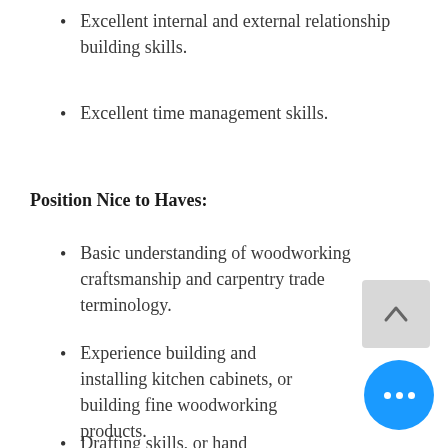Excellent internal and external relationship building skills.
Excellent time management skills.
Position Nice to Haves:
Basic understanding of woodworking craftsmanship and carpentry trade terminology.
Experience building and installing kitchen cabinets, or building fine woodworking products.
Drafting skills, or hand